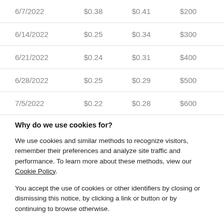| 6/7/2022 | $0.38 | $0.41 | $200 |
| 6/14/2022 | $0.25 | $0.34 | $300 |
| 6/21/2022 | $0.24 | $0.31 | $400 |
| 6/28/2022 | $0.25 | $0.29 | $500 |
| 7/5/2022 | $0.22 | $0.28 | $600 |
Why do we use cookies for?
We use cookies and similar methods to recognize visitors, remember their preferences and analyze site traffic and performance. To learn more about these methods, view our Cookie Policy.
You accept the use of cookies or other identifiers by closing or dismissing this notice, by clicking a link or button or by continuing to browse otherwise.
I accept